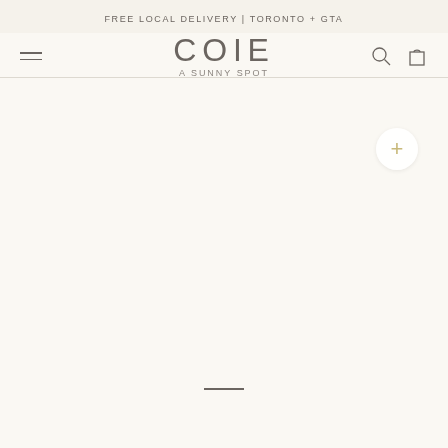FREE LOCAL DELIVERY | TORONTO + GTA
[Figure (logo): COIE A SUNNY SPOT logo with hamburger menu, search icon, and cart icon navigation bar]
[Figure (photo): Large mostly blank product image area with a zoom/expand button (+ icon) in upper right corner and a scroll indicator bar at the bottom center]